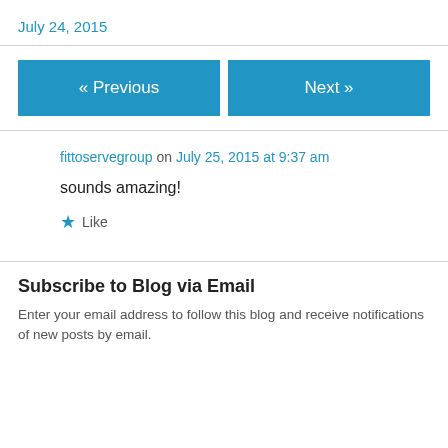July 24, 2015
« Previous
Next »
fittoservegroup on July 25, 2015 at 9:37 am
sounds amazing!
Like
Subscribe to Blog via Email
Enter your email address to follow this blog and receive notifications of new posts by email.